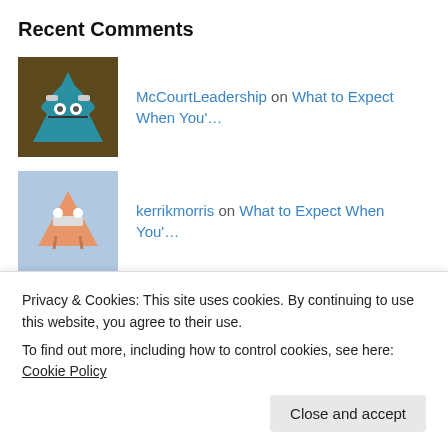Recent Comments
McCourtLeadership on What to Expect When You'…
kerrikmorris on What to Expect When You'…
cat h bradley on What to Expect When You'…
Carolyn L Naayem on Hope for a Reformed Killer
crossfittermama on Why Do You Want to Live in Ger…
Privacy & Cookies: This site uses cookies. By continuing to use this website, you agree to their use. To find out more, including how to control cookies, see here: Cookie Policy
Close and accept